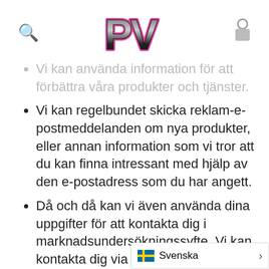[Figure (logo): PV logo with pink outline and black metallic letters]
Vi kan använda information för att förbättra våra produkter och tjänster.
Vi kan regelbundet skicka reklam-e-postmeddelanden om nya produkter, eller annan information som vi tror att du kan finna intressant med hjälp av den e-postadress som du har angett.
Då och då kan vi även använda dina uppgifter för att kontakta dig i marknadsundersökningssyfte. Vi kan kontakta dig via e-post, telefon eller post. Vi kan använ... för att annosom...
[Figure (infographic): Language selector bar showing Swedish flag and 'Svenska' text with arrow]